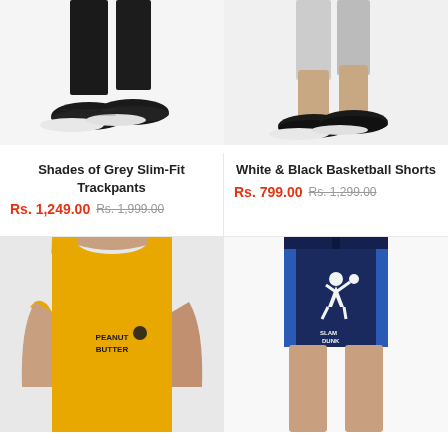[Figure (photo): Lower body of person wearing dark slim-fit trackpants and black mesh sneakers on white background]
[Figure (photo): Lower body of person wearing white and black basketball shorts and black sneakers on white background]
Shades of Grey Slim-Fit Trackpants
Rs. 1,249.00 Rs. 1,999.00
White & Black Basketball Shorts
Rs. 799.00 Rs. 1,299.00
[Figure (photo): Man wearing yellow Peanut Butter sleeveless tank top muscle shirt on grey background]
[Figure (photo): Navy blue basketball shorts with blue stripe and Slam Dunk basketball player graphic on white background]